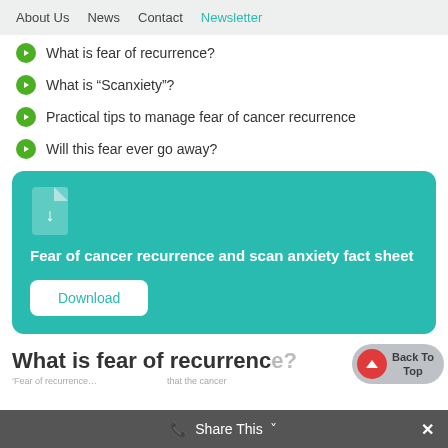About Us  News  Contact  Newsletter
What is fear of recurrence?
What is “Scanxiety”?
Practical tips to manage fear of cancer recurrence
Will this fear ever go away?
[Figure (infographic): Teal download card with file download icon, title 'Fear of cancer recurrence and scan anxiety fact sheet', and a white Download button]
What is fear of recurrence?
'Fear of recurrence ... that the cancer
Share This